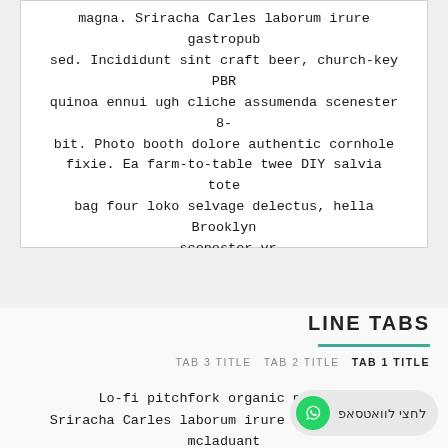magna. Sriracha Carles laborum irure gastropub sed. Incididunt sint craft beer, church-key PBR quinoa ennui ugh cliche assumenda scenester 8-bit. Photo booth dolore authentic cornhole fixie. Ea farm-to-table twee DIY salvia tote bag four loko selvage delectus, hella Brooklyn scenester yr.
LINE TABS
TAB 3 TITLE  TAB 2 TITLE  TAB 1 TITLE
Lo-fi pitchfork organic narwhal Sriracha Carles laborum irure gastropub sed mcladuant